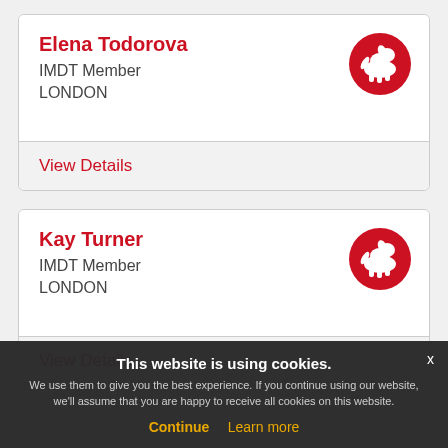Elena Todorova
IMDT Member
LONDON
View Details
Kay Turner
IMDT Member
LONDON
View Details
This website is using cookies.
We use them to give you the best experience. If you continue using our website, we'll assume that you are happy to receive all cookies on this website.
Continue   Learn more